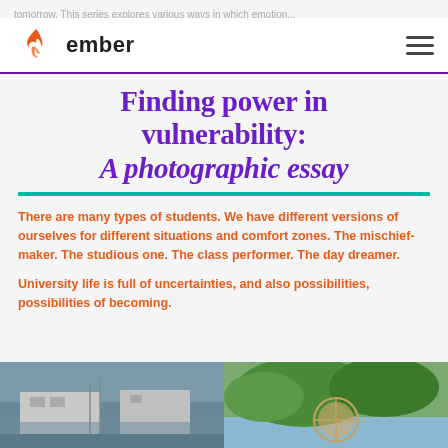tomorrow. This series explores various ways in which emotion...
ember
Finding power in vulnerability: A photographic essay
There are many types of students. We have different versions of ourselves for different situations and comfort zones. The mischief-maker. The studious one. The class performer. The day dreamer.
University life is full of uncertainties, and also possibilities, possibilities of becoming.
[Figure (photo): Outdoor school building with playground equipment, overcast sky]
[Figure (photo): Person holding a patterned umbrella under green trees near water]